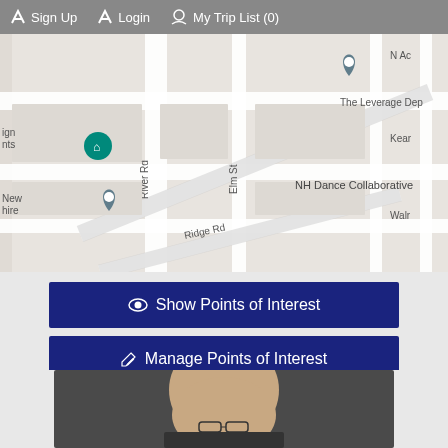Sign Up   Login   My Trip List (0)
[Figure (map): Google Maps view showing Social Butterfly Event Planning, Stanton and Son's Landscaping, NH Dance Collaborative, with streets including Greenfield St, Elm St, River Rd, Ridge Rd]
[Figure (other): Two blue buttons: 'Show Points of Interest' and 'Manage Points of Interest']
[Figure (photo): Portrait photo of a bald man wearing glasses, against a dark background]